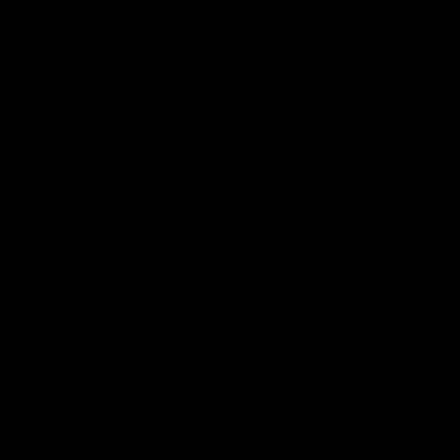[Figure (logo): Deer Head Inn logo with photo of musician, text 'DEER HEAD' and 'Food • Music •']
Come out to hear t pianist JUDY PAL blues standards, co King, Bonnie Rait
Deer Head Inn
5 Main St Delawa
Reservations sugg
www.deerheadinn